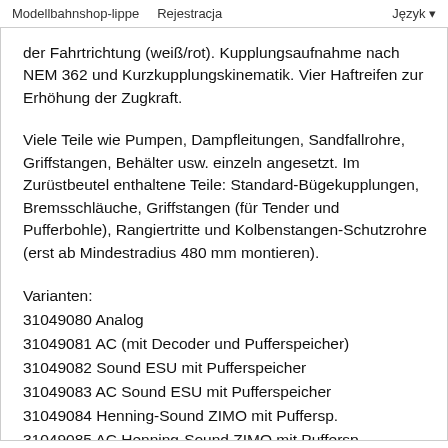Modellbahnshop-lippe   Rejestracja   Język
der Fahrtrichtung (weiß/rot). Kupplungsaufnahme nach NEM 362 und Kurzkupplungskinematik. Vier Haftreifen zur Erhöhung der Zugkraft.
Viele Teile wie Pumpen, Dampfleitungen, Sandfallrohre, Griffstangen, Behälter usw. einzeln angesetzt. Im Zurüstbeutel enthaltene Teile: Standard-Bügekupplungen, Bremsschläuche, Griffstangen (für Tender und Pufferbohle), Rangiertritte und Kolbenstangen-Schutzrohre (erst ab Mindestradius 480 mm montieren).
Varianten:
31049080 Analog
31049081 AC (mit Decoder und Pufferspeicher)
31049082 Sound ESU mit Pufferspeicher
31049083 AC Sound ESU mit Pufferspeicher
31049084 Henning-Sound ZIMO mit Puffersp.
31049085 AC Henning-Sound ZIMO mit Puffersp.